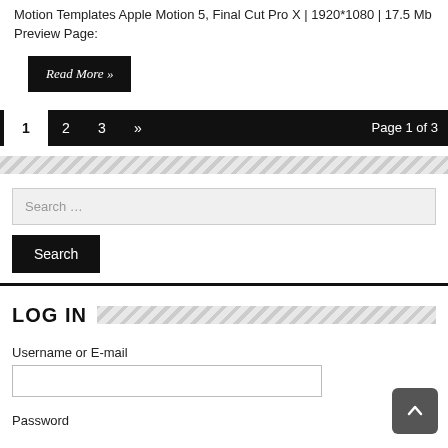Motion Templates Apple Motion 5, Final Cut Pro X | 1920*1080 | 17.5 Mb Preview Page:
Read More »
1  2  3  »  Page 1 of 3
Search …
Search
LOG IN
Username or E-mail
Password